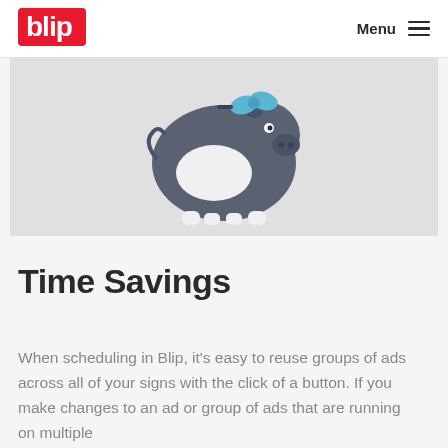blip  Menu
[Figure (illustration): A cartoon piggy bank illustration — dark gray/charcoal colored hippo-like piggy bank with a blue bow/ribbon on top, white belly/legs, displayed on a light gray background]
Time Savings
When scheduling in Blip, it’s easy to reuse groups of ads across all of your signs with the click of a button. If you make changes to an ad or group of ads that are running on multiple